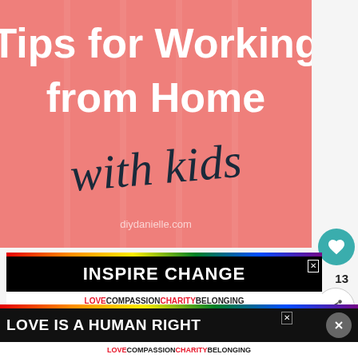[Figure (illustration): Pink/salmon colored background with white bold sans-serif text reading 'Tips for Working from Home' and handwritten-style script text reading 'with kids'. Watermark text 'diydanielle.com' at bottom.]
13
[Figure (infographic): Advertisement banner. Black background with white bold text 'INSPIRE CHANGE' and a rainbow strip. Below: 'LOVE COMPASSION CHARITY BELONGING' in red and black on white.]
[Figure (infographic): What's Next panel with thumbnail image and text: 'WHAT'S NEXT → 7 Simple Tips for Saving...']
[Figure (infographic): Bottom advertisement banner. Rainbow strip, black background with white bold text 'LOVE IS A HUMAN RIGHT', and 'LOVE COMPASSION CHARITY BELONGING' below.]